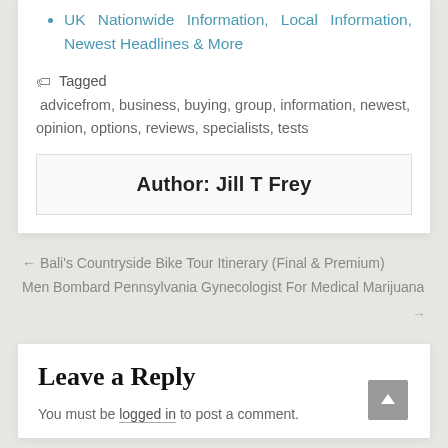UK Nationwide Information, Local Information, Newest Headlines & More
Tagged advicefrom, business, buying, group, information, newest, opinion, options, reviews, specialists, tests
Author: Jill T Frey
← Bali's Countryside Bike Tour Itinerary (Final & Premium)
Men Bombard Pennsylvania Gynecologist For Medical Marijuana →
Leave a Reply
You must be logged in to post a comment.